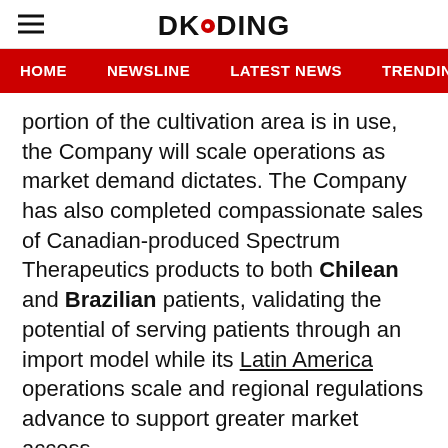DKODING
HOME  NEWSLINE  LATEST NEWS  TRENDING TODAY  ENT
portion of the cultivation area is in use, the Company will scale operations as market demand dictates. The Company has also completed compassionate sales of Canadian-produced Spectrum Therapeutics products to both Chilean and Brazilian patients, validating the potential of serving patients through an import model while its Latin America operations scale and regional regulations advance to support greater market access.
Asia-Pacific: